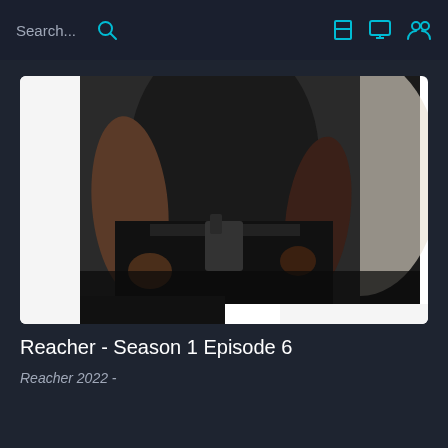Search...
[Figure (photo): Screenshot of a streaming app showing a dark-themed UI with a search bar at the top and a thumbnail image of a man's torso in dark clothing with a holstered gun at his back]
Reacher - Season 1 Episode 6
Reacher 2022 -